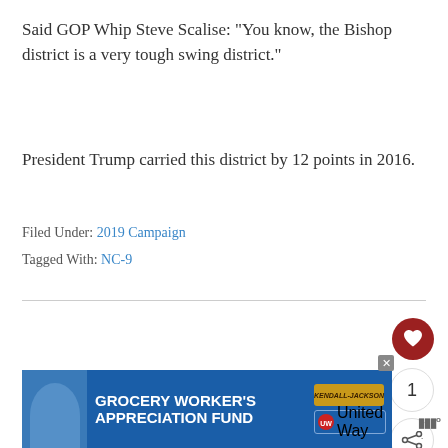Said GOP Whip Steve Scalise: “You know, the Bishop district is a very tough swing district.”
President Trump carried this district by 12 points in 2016.
Filed Under: 2019 Campaign
Tagged With: NC-9
[Figure (other): Grocery Worker's Appreciation Fund advertisement banner with Kendall-Jackson and United Way logos]